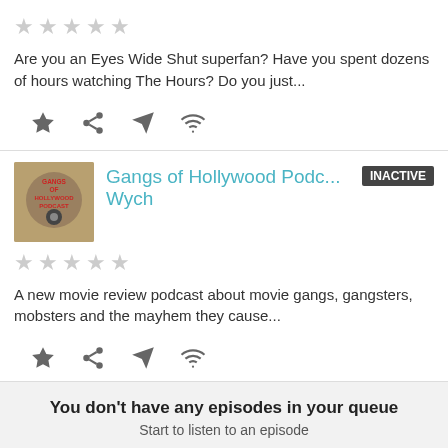[Figure (screenshot): Top card: star rating (5 empty stars) and description text about Eyes Wide Shut superfan, with action icons below]
Are you an Eyes Wide Shut superfan? Have you spent dozens of hours watching The Hours? Do you just...
[Figure (screenshot): Second card: Gangs of Hollywood Podcast thumbnail with INACTIVE badge, Wych subtitle, 5 empty stars, description, and action icons]
Gangs of Hollywood Podc... Wych
A new movie review podcast about movie gangs, gangsters, mobsters and the mayhem they cause...
[Figure (screenshot): Third card partially visible: Love and Movies with INACTIVE badge]
Love and Movies
You don't have any episodes in your queue
Start to listen to an episode